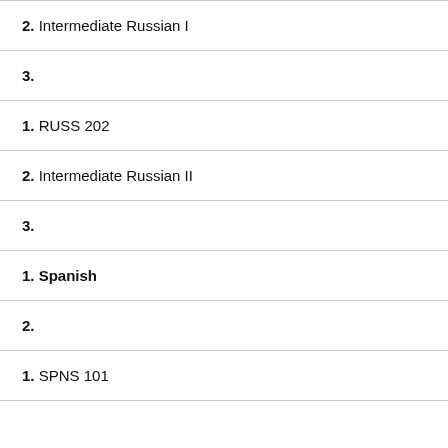2. Intermediate Russian I
3.
1. RUSS 202
2. Intermediate Russian II
3.
1. Spanish
2.
1. SPNS 101